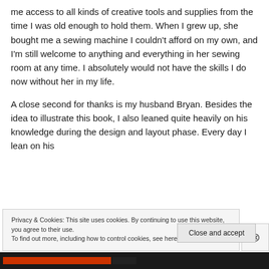me access to all kinds of creative tools and supplies from the time I was old enough to hold them.  When I grew up, she bought me a sewing machine I couldn't afford on my own, and I'm still welcome to anything and everything in her sewing room at any time.  I absolutely would not have the skills I do now without her in my life.
A close second for thanks is my husband Bryan. Besides the idea to illustrate this book, I also leaned quite heavily on his knowledge during the design and layout phase.  Every day I lean on his...
Privacy & Cookies: This site uses cookies. By continuing to use this website, you agree to their use.
To find out more, including how to control cookies, see here: Cookie Policy
Close and accept